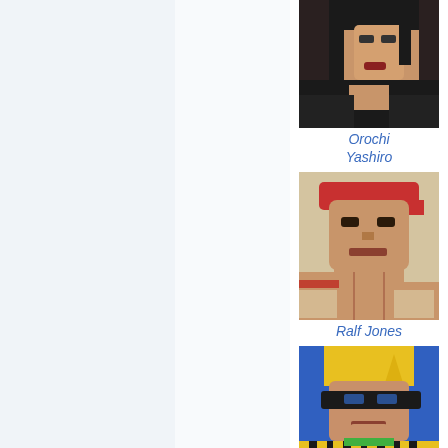[Figure (illustration): Portrait of Orochi Yashiro - fighting game character with dark hair]
Orochi Yashiro
[Figure (illustration): Portrait of Ralf Jones - fighting game character with red bandana]
Ralf Jones
[Figure (illustration): Portrait of Ramón - fighting game character with yellow hair and eye mask]
Ramón
[Figure (illustration): Partial portrait of another fighting game character with dark hair - cropped at bottom]